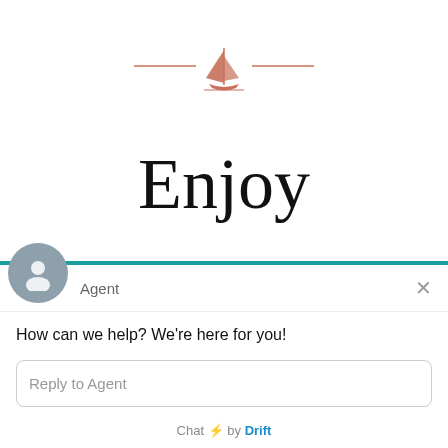[Figure (logo): Sailboat logo with horizontal decorative lines on each side, salmon/terracotta color]
Enjoy
[Figure (screenshot): Drift chat widget overlay showing agent avatar, 'Agent' label, close button, message 'How can we help? We're here for you!', reply input box, and 'Chat by Drift' footer]